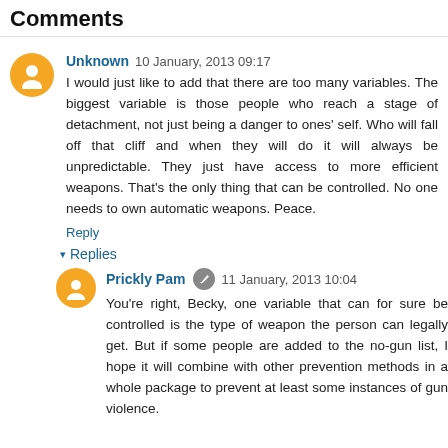Comments
Unknown  10 January, 2013 09:17
I would just like to add that there are too many variables. The biggest variable is those people who reach a stage of detachment, not just being a danger to ones' self. Who will fall off that cliff and when they will do it will always be unpredictable. They just have access to more efficient weapons. That's the only thing that can be controlled. No one needs to own automatic weapons. Peace.
Reply
Replies
Prickly Pam  11 January, 2013 10:04
You're right, Becky, one variable that can for sure be controlled is the type of weapon the person can legally get. But if some people are added to the no-gun list, I hope it will combine with other prevention methods in a whole package to prevent at least some instances of gun violence.